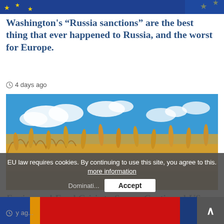[Figure (photo): Top strip of EU flag with blue background and yellow stars]
Washington's “Russia sanctions” are the best thing that ever happened to Russia, and the worst for Europe.
○ 4 days ago
[Figure (photo): Golden wheat field under blue sky with white clouds]
Engineered Food Crisis to Secure Continued US Dominati...
○ y ag...
EU law requires cookies. By continuing to use this site, you agree to this. more information
Accept